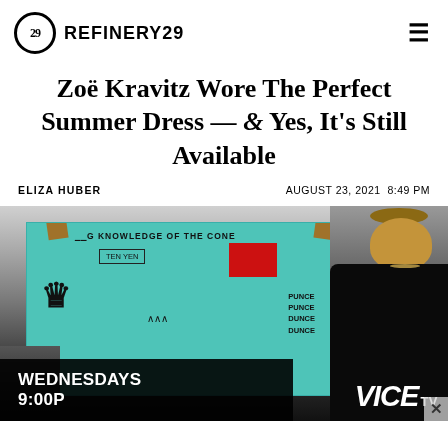REFINERY29
Zoë Kravitz Wore The Perfect Summer Dress — & Yes, It's Still Available
ELIZA HUBER    AUGUST 23, 2021 8:49 PM
[Figure (photo): Photo of a woman in a black dress standing in front of a Basquiat-style teal artwork. An advertisement banner at the bottom reads 'WEDNESDAYS 9:00P' with VICE TV logo.]